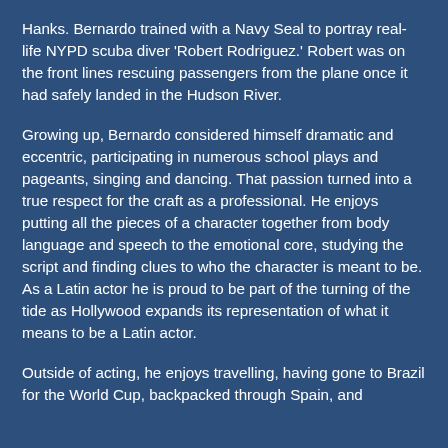Hanks. Bernardo trained with a Navy Seal to portray real-life NYPD scuba diver 'Robert Rodriguez.' Robert was on the front lines rescuing passengers from the plane once it had safely landed in the Hudson River.
Growing up, Bernardo considered himself dramatic and eccentric, participating in numerous school plays and pageants, singing and dancing. That passion turned into a true respect for the craft as a professional. He enjoys putting all the pieces of a character together from body language and speech to the emotional core, studying the script and finding clues to who the character is meant to be. As a Latin actor he is proud to be part of the turning of the tide as Hollywood expands its representation of what it means to be a Latin actor.
Outside of acting, he enjoys travelling, having gone to Brazil for the World Cup, backpacked through Spain, and